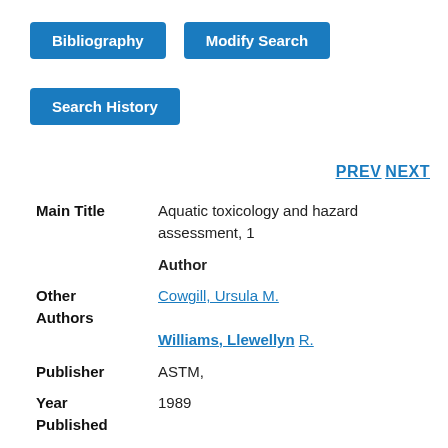Bibliography
Modify Search
Search History
PREV NEXT
| Field | Value |
| --- | --- |
| Main Title | Aquatic toxicology and hazard assessment, 1 |
| Author |  |
| Other Authors | Cowgill, Ursula M.
Williams, Llewellyn R. |
| Publisher | ASTM, |
| Year Published | 1989 |